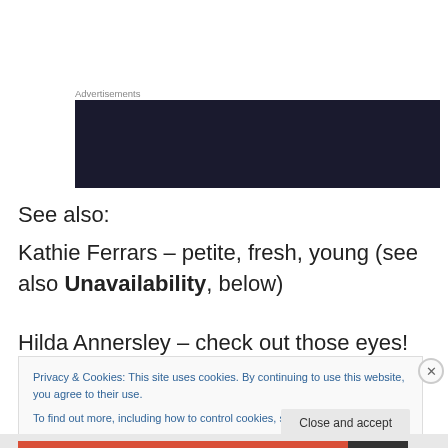Advertisements
[Figure (other): Dark advertisement banner image]
See also:
Kathie Ferrars – petite, fresh, young (see also Unavailability, below)
Hilda Annersley – check out those eyes! (see also The
Privacy & Cookies: This site uses cookies. By continuing to use this website, you agree to their use.
To find out more, including how to control cookies, see here: Cookie Policy
Close and accept